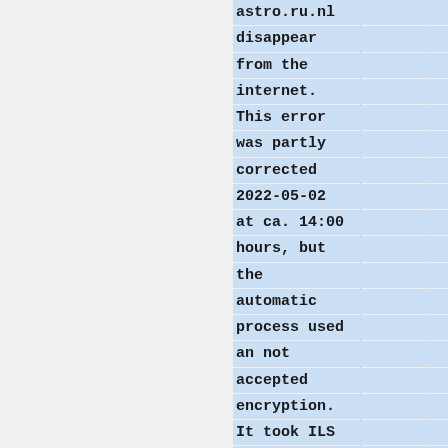astro.ru.nl disappear from the internet. This error was partly corrected 2022-05-02 at ca. 14:00 hours, but the automatic process used an not accepted encryption. It took ILS until 2022-05-22 to correct that by hand after we